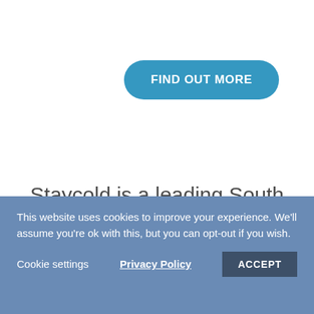[Figure (other): Button: FIND OUT MORE — rounded pill shape, teal/blue background, white bold text]
Staycold is a leading South African manufacturer of self-contained commercial fridges and freezers
This website uses cookies to improve your experience. We'll assume you're ok with this, but you can opt-out if you wish.
Cookie settings   Privacy Policy   ACCEPT